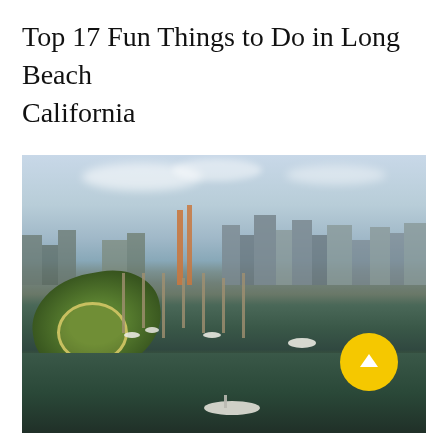Top 17 Fun Things to Do in Long Beach California
[Figure (photo): Aerial photograph of Long Beach, California showing the harbor, marina with boats, green island park with circular path, downtown skyline with buildings, and waterways. A yellow circular scroll-to-top button overlay is visible in the lower right of the image.]